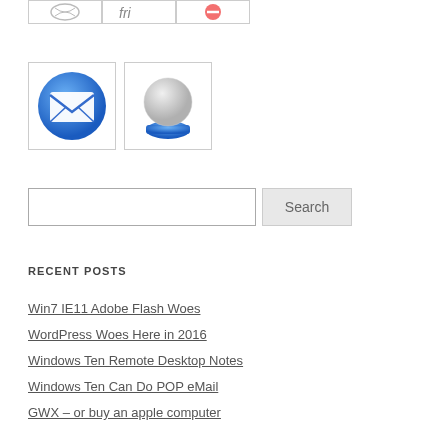[Figure (illustration): Row of three small icon boxes at the top, partially cropped]
[Figure (illustration): Two software/application icons: a blue email/envelope icon and a blue 3D ball/orb icon on a blue base]
Search
RECENT POSTS
Win7 IE11 Adobe Flash Woes
WordPress Woes Here in 2016
Windows Ten Remote Desktop Notes
Windows Ten Can Do POP eMail
GWX – or buy an apple computer